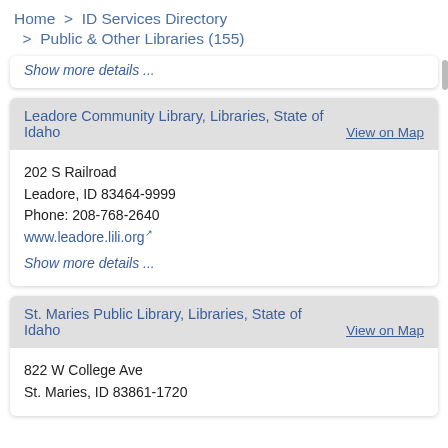Home > ID Services Directory > Public & Other Libraries (155)
Show more details...
Leadore Community Library, Libraries, State of Idaho
View on Map
202 S Railroad
Leadore, ID 83464-9999
Phone: 208-768-2640
www.leadore.lili.org
Show more details...
St. Maries Public Library, Libraries, State of Idaho
View on Map
822 W College Ave
St. Maries, ID 83861-1720